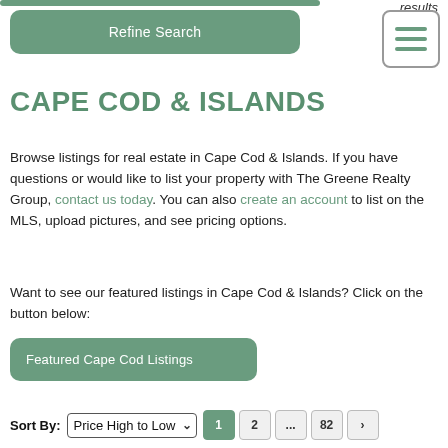results
[Figure (other): Refine Search button (green rounded rectangle)]
[Figure (other): Hamburger menu icon with 3 horizontal lines in a rounded square border]
CAPE COD & ISLANDS
Browse listings for real estate in Cape Cod & Islands. If you have questions or would like to list your property with The Greene Realty Group, contact us today. You can also create an account to list on the MLS, upload pictures, and see pricing options.
Want to see our featured listings in Cape Cod & Islands? Click on the button below:
[Figure (other): Featured Cape Cod Listings button (green rounded rectangle)]
Sort By: Price High to Low  1  2  ...  82  >